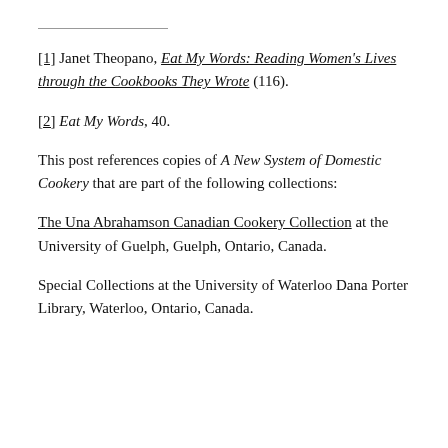[1] Janet Theopano, Eat My Words: Reading Women's Lives through the Cookbooks They Wrote (116).
[2] Eat My Words, 40.
This post references copies of A New System of Domestic Cookery that are part of the following collections:
The Una Abrahamson Canadian Cookery Collection at the University of Guelph, Guelph, Ontario, Canada.
Special Collections at the University of Waterloo Dana Porter Library, Waterloo, Ontario, Canada.